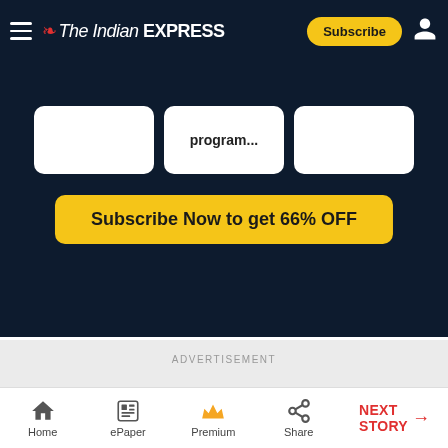The Indian Express — Subscribe
program...
Subscribe Now to get 66% OFF
ADVERTISEMENT
Home | ePaper | Premium | Share | NEXT STORY